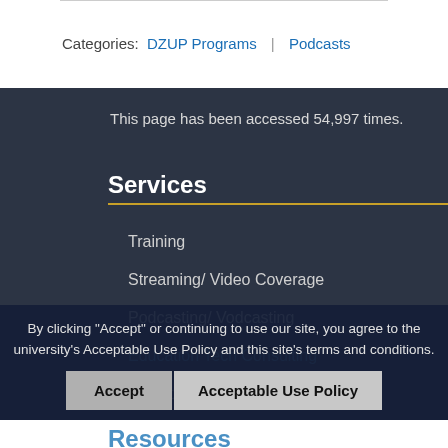Categories:  DZUP Programs    Podcasts
This page has been accessed 54,997 times.
Services
Training
Streaming/ Video Coverage
Podcasting/ Vodcasting
Education Tech Consulting
Intercolony/ On-site DL Training
Resources
By clicking "Accept" or continuing to use our site, you agree to the university's Acceptable Use Policy and this site's terms and conditions.